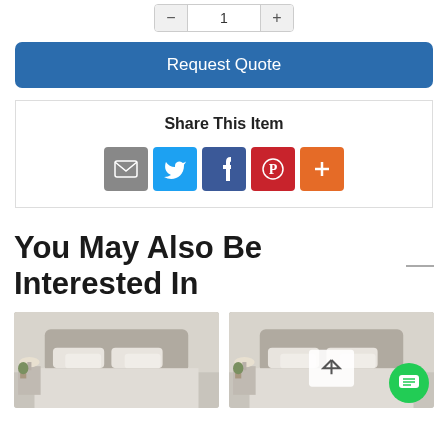[Figure (screenshot): Quantity selector with minus, input field showing 1, and plus button]
Request Quote
Share This Item
[Figure (infographic): Social share icons: Email (grey), Twitter (blue), Facebook (dark blue), Pinterest (red), More (orange)]
You May Also Be Interested In
[Figure (photo): Bedroom with white bedding, pillows, lamp and plant on nightstand]
[Figure (photo): Bedroom with white bedding, pillows, lamp and plant on nightstand, with scroll-up button overlay and green chat button]